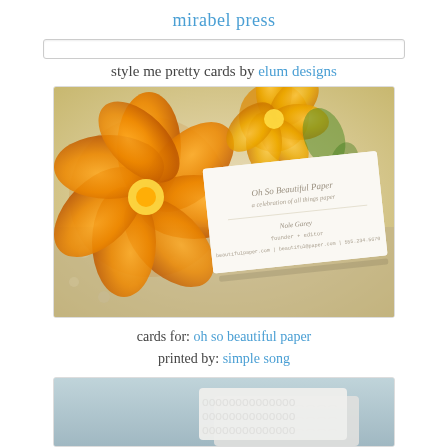mirabel press
[Figure (other): Search bar input field]
style me pretty cards by elum designs
[Figure (photo): Photograph of a letterpress business card for Oh So Beautiful Paper resting on a floral patterned fabric with an orange ranunculus flower in the background. The card features elegant script typography with contact information.]
cards for: oh so beautiful paper
printed by: simple song
[Figure (photo): Partial photograph showing embossed or letterpress cards with a repeating oval/loop pattern, in white against a light blue-grey background.]